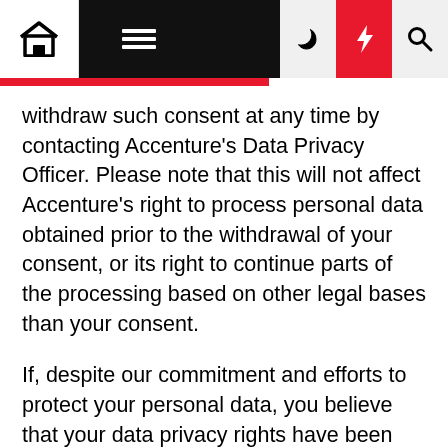Navigation bar with home, menu, moon, flash, and search icons
withdraw such consent at any time by contacting Accenture's Data Privacy Officer. Please note that this will not affect Accenture's right to process personal data obtained prior to the withdrawal of your consent, or its right to continue parts of the processing based on other legal bases than your consent.
If, despite our commitment and efforts to protect your personal data, you believe that your data privacy rights have been violated, we encourage and welcome individuals to come to Accenture first to seek resolution of any complaint. You have the right at all times to register a complaint directly with the relevant supervisory authority or to make a claim against Accenture with a competent court (either in the country where you live, the country where you